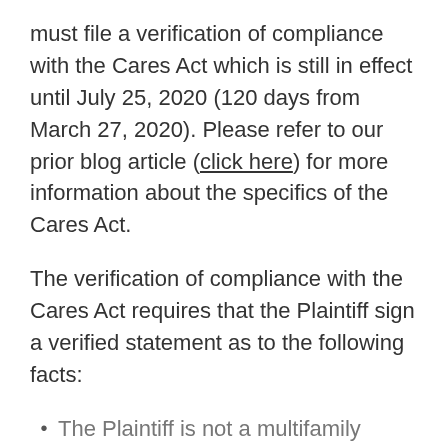must file a verification of compliance with the Cares Act which is still in effect until July 25, 2020 (120 days from March 27, 2020). Please refer to our prior blog article (click here) for more information about the specifics of the Cares Act.
The verification of compliance with the Cares Act requires that the Plaintiff sign a verified statement as to the following facts:
The Plaintiff is not a multifamily borrower currently receiving a forbearance under the Cares Act for the property which is the subject of the eviction.
The eviction is for a reason other than